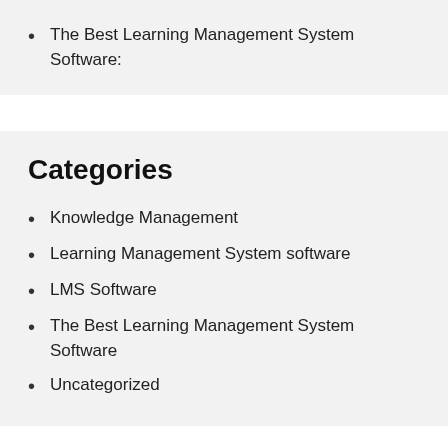The Best Learning Management System Software:
Categories
Knowledge Management
Learning Management System software
LMS Software
The Best Learning Management System Software
Uncategorized